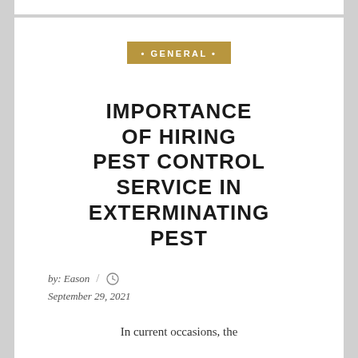• GENERAL •
IMPORTANCE OF HIRING PEST CONTROL SERVICE IN EXTERMINATING PEST
by: Eason / ⌚ September 29, 2021
In current occasions, the